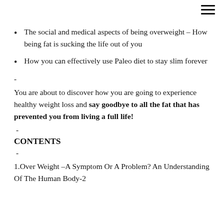The social and medical aspects of being overweight – How being fat is sucking the life out of you
How you can effectively use Paleo diet to stay slim forever
-
You are about to discover how you are going to experience healthy weight loss and say goodbye to all the fat that has prevented you from living a full life!
-
CONTENTS
-
1.Over Weight –A Symptom Or A Problem? An Understanding Of The Human Body-2